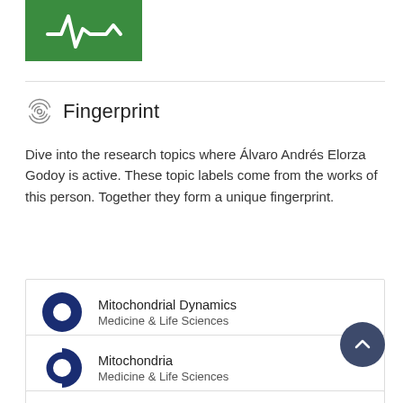[Figure (logo): Green SDG-style logo with white heartbeat/pulse line icon]
Fingerprint
Dive into the research topics where Álvaro Andrés Elorza Godoy is active. These topic labels come from the works of this person. Together they form a unique fingerprint.
Mitochondrial Dynamics
Medicine & Life Sciences
Mitochondria
Medicine & Life Sciences
Energy Metabolism